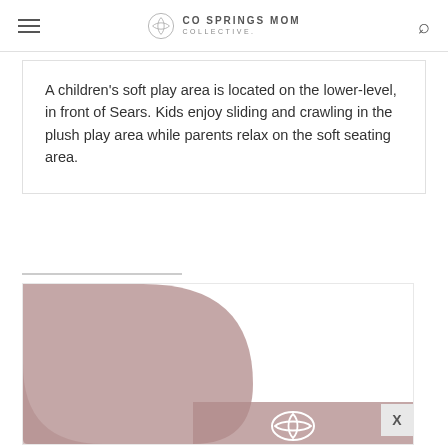CO SPRINGS MOM COLLECTIVE.
A children's soft play area is located on the lower-level, in front of Sears. Kids enjoy sliding and crawling in the plush play area while parents relax on the soft seating area.
[Figure (logo): CO Springs Mom Collective logo — large mauve/dusty-rose stylized leaf/floral shape with text banner below]